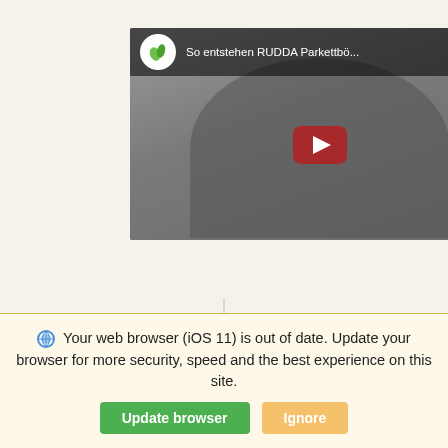[Figure (screenshot): YouTube video thumbnail showing 'So entstehen RUDDA Parkettbö...' with a green leaf channel icon, a dark/grey video frame with a person visible, and a red YouTube play button in the center.]
Your web browser (iOS 11) is out of date. Update your browser for more security, speed and the best experience on this site.
Update browser   Ignore